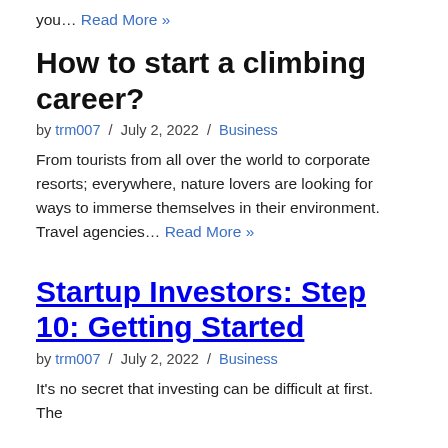you… Read More »
How to start a climbing career?
by trm007 / July 2, 2022 / Business
From tourists from all over the world to corporate resorts; everywhere, nature lovers are looking for ways to immerse themselves in their environment. Travel agencies… Read More »
Startup Investors: Step 10: Getting Started
by trm007 / July 2, 2022 / Business
It's no secret that investing can be difficult at first.   The